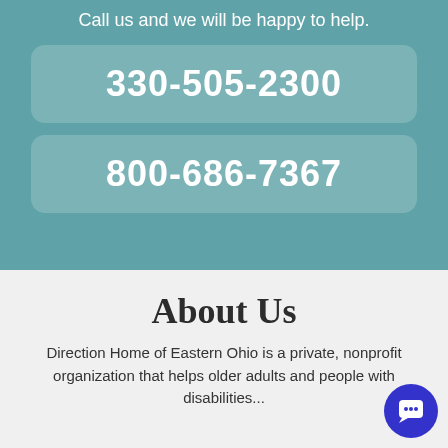Call us and we will be happy to help.
330-505-2300
800-686-7367
About Us
Direction Home of Eastern Ohio is a private, non-profit organization that helps older adults and people with disabilities...